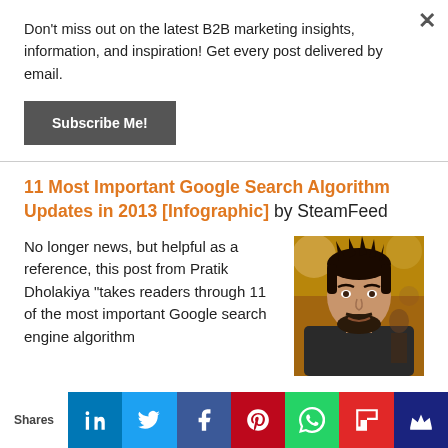Don't miss out on the latest B2B marketing insights, information, and inspiration! Get every post delivered by email.
Subscribe Me!
11 Most Important Google Search Algorithm Updates in 2013 [Infographic] by SteamFeed
No longer news, but helpful as a reference, this post from Pratik Dholakiya "takes readers through 11 of the most important Google search engine algorithm
[Figure (photo): Headshot photo of a man with dark hair and beard, wearing a dark shirt, against a warm bokeh background]
Shares | LinkedIn | Twitter | Facebook | Pinterest | WhatsApp | Flipboard | Crown